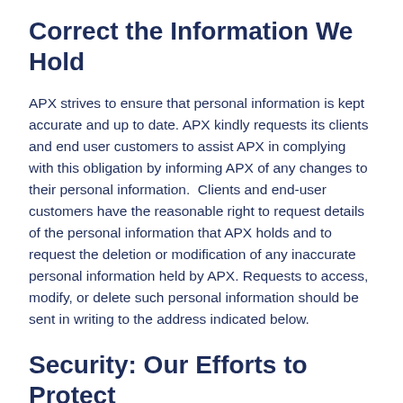Correct the Information We Hold
APX strives to ensure that personal information is kept accurate and up to date. APX kindly requests its clients and end user customers to assist APX in complying with this obligation by informing APX of any changes to their personal information.  Clients and end-user customers have the reasonable right to request details of the personal information that APX holds and to request the deletion or modification of any inaccurate personal information held by APX. Requests to access, modify, or delete such personal information should be sent in writing to the address indicated below.
Security: Our Efforts to Protect